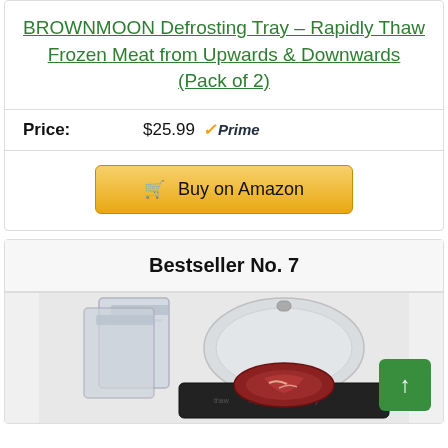BROWNMOON Defrosting Tray - Rapidly Thaw Frozen Meat from Upwards & Downwards (Pack of 2)
Price: $25.99 Prime
Buy on Amazon
Bestseller No. 7
[Figure (photo): Product photo of a defrosting tray with meat and plastic bags/dome cover on a dark tray]